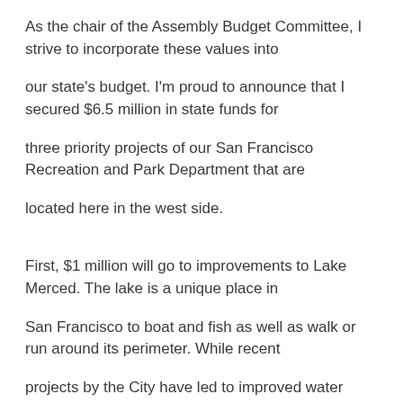As the chair of the Assembly Budget Committee, I strive to incorporate these values into
our state's budget. I'm proud to announce that I secured $6.5 million in state funds for
three priority projects of our San Francisco Recreation and Park Department that are
located here in the west side.
First, $1 million will go to improvements to Lake Merced. The lake is a unique place in
San Francisco to boat and fish as well as walk or run around its perimeter. While recent
projects by the City have led to improved water quality, there is still work to be done.